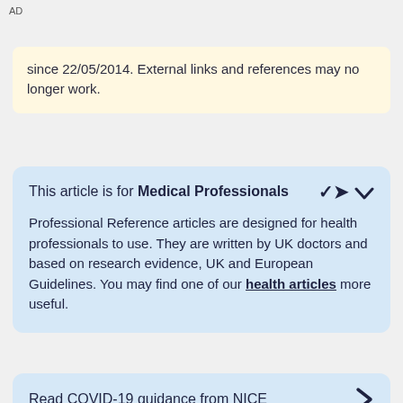AD
since 22/05/2014. External links and references may no longer work.
This article is for Medical Professionals
Professional Reference articles are designed for health professionals to use. They are written by UK doctors and based on research evidence, UK and European Guidelines. You may find one of our health articles more useful.
Read COVID-19 guidance from NICE